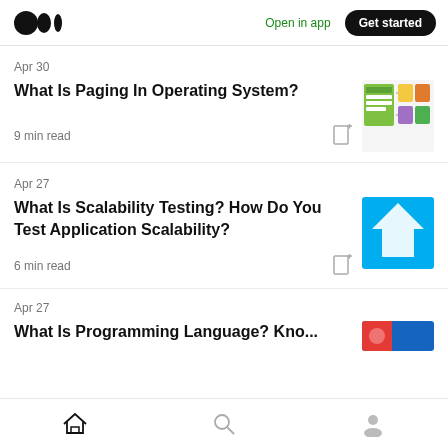Medium — Open in app — Get started
Apr 30
What Is Paging In Operating System?
9 min read
[Figure (illustration): Thumbnail image for paging article with green and colorful blocks diagram]
Apr 27
What Is Scalability Testing? How Do You Test Application Scalability?
6 min read
[Figure (illustration): Thumbnail image for scalability testing article with blue background and white upward arrows]
Apr 27
What Is Programming Language? Know...
[Figure (illustration): Thumbnail for programming language article, partially visible]